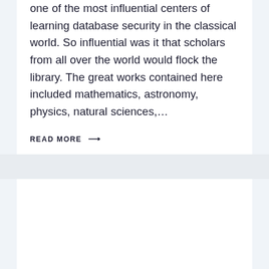one of the most influential centers of learning database security in the classical world. So influential was it that scholars from all over the world would flock the library. The great works contained here included mathematics, astronomy, physics, natural sciences,…
READ MORE →